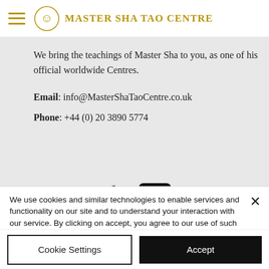Master Sha Tao Centre
We bring the teachings of Master Sha to you, as one of his official worldwide Centres.
Email: info@MasterShaTaoCentre.co.uk
Phone: +44 (0) 20 3890 5774
[Figure (logo): Facebook and YouTube social media icons]
We use cookies and similar technologies to enable services and functionality on our site and to understand your interaction with our service. By clicking on accept, you agree to our use of such technologies for marketing and analytics. See Privacy Policy
Cookie Settings
Accept